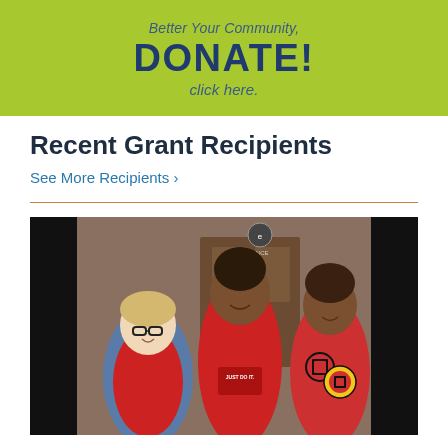[Figure (infographic): Green banner with text: Better Your Community, DONATE! click here.]
Recent Grant Recipients
See More Recipients >
[Figure (photo): Photo of three people smiling in front of a building entrance. A woman with glasses and a denim jacket on the left, a taller youth in a red Nike Just Do It shirt in the center, and a younger child in a red Dragon Ball Z patterned shirt on the right.]